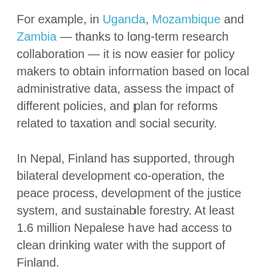For example, in Uganda, Mozambique and Zambia — thanks to long-term research collaboration — it is now easier for policy makers to obtain information based on local administrative data, assess the impact of different policies, and plan for reforms related to taxation and social security.
In Nepal, Finland has supported, through bilateral development co-operation, the peace process, development of the justice system, and sustainable forestry. At least 1.6 million Nepalese have had access to clean drinking water with the support of Finland.
In Bangladesh, Finnish NGOs have supported education, disabled people, and human rights. The interest of Finnish companies in the Bangladesh market is also on the rise.